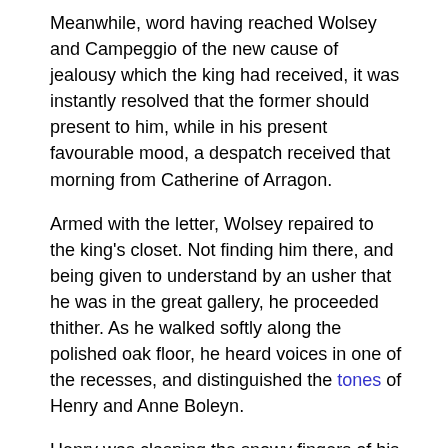Meanwhile, word having reached Wolsey and Campeggio of the new cause of jealousy which the king had received, it was instantly resolved that the former should present to him, while in his present favourable mood, a despatch received that morning from Catherine of Arragon.
Armed with the letter, Wolsey repaired to the king's closet. Not finding him there, and being given to understand by an usher that he was in the great gallery, he proceeded thither. As he walked softly along the polished oak floor, he heard voices in one of the recesses, and distinguished the tones of Henry and Anne Boleyn.
Henry was clasping the snowy fingers of his favourite, and gazing passionately at her, as the cardinal approached.
"Your majesty shall not detain my hand," said Anne, "unless you swear to me, by your crown, that you will not again be jealous without cause."
"I swear it," replied Henry.
"Were your majesty as devoted to me as you would have me believe, you would soon bring this matter of the divorce to an issue," said Anne.
"I would fain do so, sweetheart," rejoined Henry; "but these cardinals